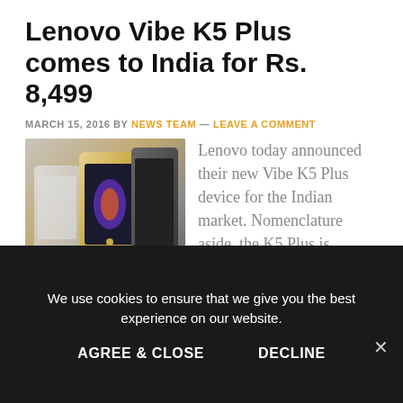Lenovo Vibe K5 Plus comes to India for Rs. 8,499
MARCH 15, 2016 BY NEWS TEAM — LEAVE A COMMENT
[Figure (photo): Lenovo Vibe K5 Plus smartphones in gold and dark grey colors shown from multiple angles]
Lenovo today announced their new Vibe K5 Plus device for the Indian market. Nomenclature aside, the K5 Plus is actually
We use cookies to ensure that we give you the best experience on our website.
AGREE & CLOSE    DECLINE